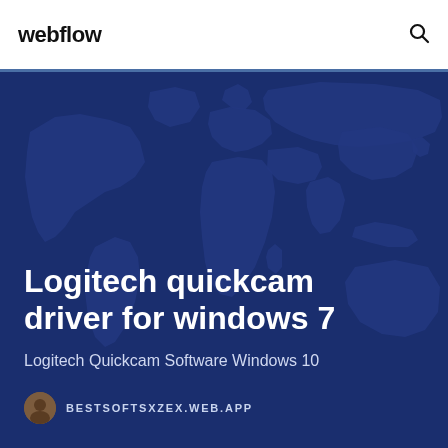webflow
[Figure (illustration): World map background illustration in dark navy blue tones]
Logitech quickcam driver for windows 7
Logitech Quickcam Software Windows 10
BESTSOFTSXZEX.WEB.APP